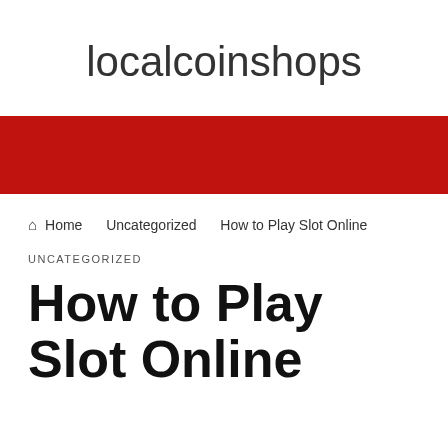localcoinshops
[Figure (other): Red navigation banner bar]
Home  Uncategorized  How to Play Slot Online
UNCATEGORIZED
How to Play Slot Online